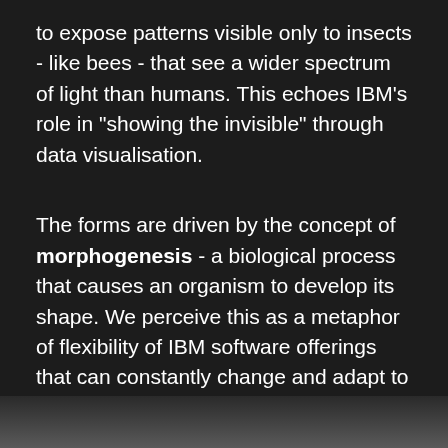to expose patterns visible only to insects - like bees - that see a wider spectrum of light than humans. This echoes IBM’s role in “showing the invisible” through data visualisation.
The forms are driven by the concept of morphogenesis - a biological process that causes an organism to develop its shape. We perceive this as a metaphor of flexibility of IBM software offerings that can constantly change and adapt to rising challenges imposed by Wimbledon and our ever more data driven world.
[Figure (photo): Bottom portion of a dark image, partially visible at the bottom of the page]